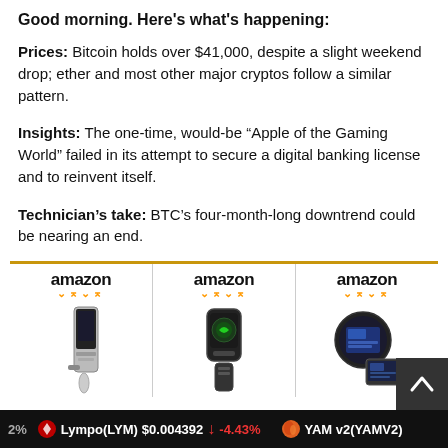Good morning. Here's what's happening:
Prices: Bitcoin holds over $41,000, despite a slight weekend drop; ether and most other major cryptos follow a similar pattern.
Insights: The one-time, would-be “Apple of the Gaming World” failed in its attempt to secure a digital banking license and to reinvent itself.
Technician’s take: BTC’s four-month-long downtrend could be nearing an end.
[Figure (other): Three Amazon product advertisement panels showing crypto hardware wallets and related devices, with orange top border.]
2% ▾ Lympo(LYM) $0.004392 ↓ -4.43% YAM v2(YAMV2)